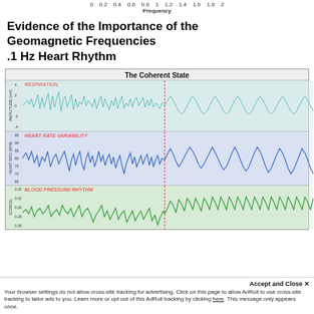0   0.2   0.4   0.6   0.8   1   1.2   1.4   1.6   1.8   2
Frequency
Evidence of the Importance of the Geomagnetic Frequencies .1 Hz Heart Rhythm
[Figure (continuous-plot): Chart titled 'The Coherent State' showing three stacked panels of physiological signals: (1) Respiration in teal/cyan showing amplitude (mV) from -4 to 4, irregular before dashed vertical line then smoother sinusoidal after; (2) Heart Rate Variability in blue showing heart rate (BPM) ranging 65-95, chaotic before dashed line then regular oscillation after; (3) Blood Pressure Rhythm in green showing values 0.28-0.32 seconds, irregular before dashed line then regular sinusoidal after. Dashed vertical red line separates incoherent (left) from coherent (right) states.]
Accept and Close ✕
Your browser settings do not allow cross-site tracking for advertising. Click on this page to allow AdRoll to use cross-site tracking to tailor ads to you. Learn more or opt out of this AdRoll tracking by clicking here. This message only appears once.